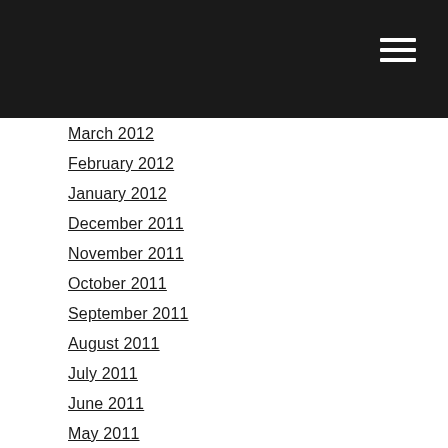March 2012
February 2012
January 2012
December 2011
November 2011
October 2011
September 2011
August 2011
July 2011
June 2011
May 2011
April 2011
March 2011
February 2011
January 2011
December 2010